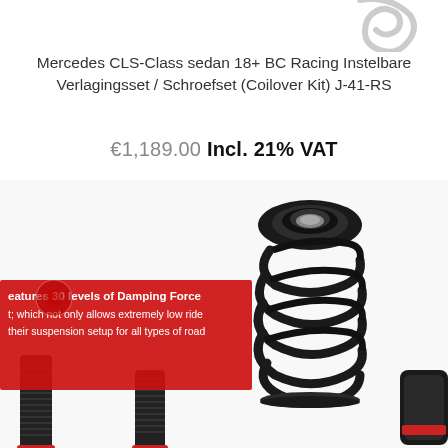[Figure (photo): Partial view of a metallic clip/bracket component at top of page, white background]
Mercedes CLS-Class sedan 18+ BC Racing Instelbare Verlagingsset / Schroefset (Coilover Kit) J-41-RS
€1,189.00 Incl. 21% VAT
[Figure (photo): Product photo showing BC Racing coilover kit components: a black coil spring with large rubber mount on top, two threaded shock absorber bodies with red adjustment rings at bottom, and a partial view of another component at far right. A red promotional banner overlay on the left shows partial text: 'features 30 levels of Damping Force', 'it, which not only allows extremely low ride', 'their suspension setup for all types of road']